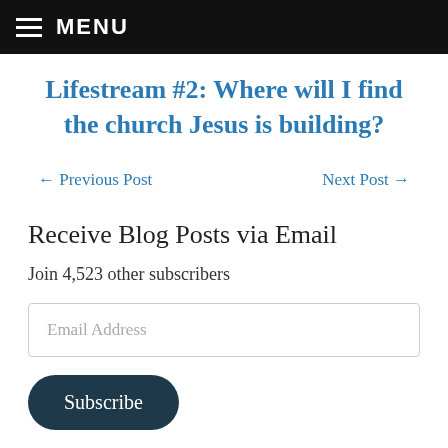MENU
Lifestream #2: Where will I find the church Jesus is building?
← Previous Post    Next Post →
Receive Blog Posts via Email
Join 4,523 other subscribers
Email Address
Subscribe
Sho...